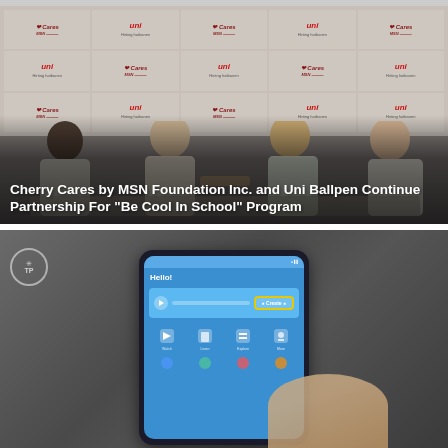[Figure (photo): Event photo showing four people at a signing ceremony in front of a branded backdrop with Cherry Cares by MSN and Uni Ballpen logos. Two people are shaking hands.]
Cherry Cares by MSN Foundation Inc. and Uni Ballpen Continue Partnership For "Be Cool In School" Program
[Figure (photo): Photo of a hand holding a smartphone displaying a mobile app screen with 'Hello!' greeting, blue UI, and a highlighted yellow-bordered button.]